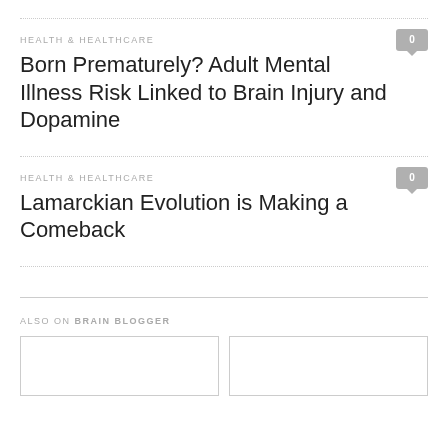HEALTH & HEALTHCARE
Born Prematurely? Adult Mental Illness Risk Linked to Brain Injury and Dopamine
HEALTH & HEALTHCARE
Lamarckian Evolution is Making a Comeback
ALSO ON BRAIN BLOGGER